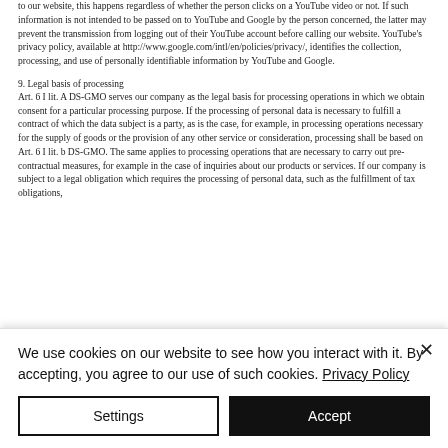to our website, this happens regardless of whether the person clicks on a YouTube video or not. If such information is not intended to be passed on to YouTube and Google by the person concerned, the latter may prevent the transmission from logging out of their YouTube account before calling our website. YouTube's privacy policy, available at http://www.google.com/intl/en/policies/privacy/, identifies the collection, processing, and use of personally identifiable information by YouTube and Google.
9. Legal basis of processing
Art. 6 I lit. A DS-GMO serves our company as the legal basis for processing operations in which we obtain consent for a particular processing purpose. If the processing of personal data is necessary to fulfill a contract of which the data subject is a party, as is the case, for example, in processing operations necessary for the supply of goods or the provision of any other service or consideration, processing shall be based on Art. 6 I lit. b DS-GMO. The same applies to processing operations that are necessary to carry out pre-contractual measures, for example in the case of inquiries about our products or services. If our company is subject to a legal obligation which requires the processing of personal data, such as the fulfillment of tax obligations,
We use cookies on our website to see how you interact with it. By accepting, you agree to our use of such cookies. Privacy Policy
Settings
Accept